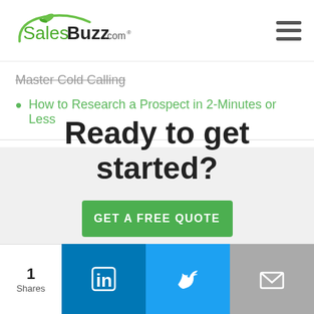[Figure (logo): SalesBuzz.com logo with green rocket and swoosh graphic]
[Figure (other): Hamburger menu icon (three horizontal lines)]
Master Cold Calling
How to Research a Prospect in 2-Minutes or Less
Ready to get started?
GET A FREE QUOTE
1 Shares
[Figure (other): LinkedIn share button (blue background with white 'in' icon)]
[Figure (other): Twitter share button (light blue background with white bird icon)]
[Figure (other): Email share button (gray background with white envelope icon)]